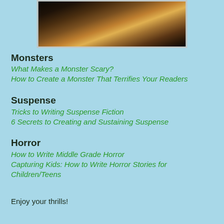[Figure (photo): Dark moody photo of books with warm light, partial view at top of page]
Monsters
What Makes a Monster Scary?
How to Create a Monster That Terrifies Your Readers
Suspense
Tricks to Writing Suspense Fiction
6 Secrets to Creating and Sustaining Suspense
Horror
How to Write Middle Grade Horror
Capturing Kids: How to Write Horror Stories for Children/Teens
Enjoy your thrills!